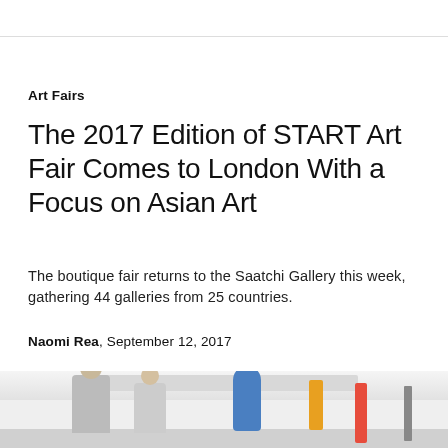Art Fairs
The 2017 Edition of START Art Fair Comes to London With a Focus on Asian Art
The boutique fair returns to the Saatchi Gallery this week, gathering 44 galleries from 25 countries.
Naomi Rea, September 12, 2017
[Figure (photo): Photo of people viewing artwork inside a bright white gallery space. A blue sculptural form is visible in the center, and colorful artworks are displayed along the right wall.]